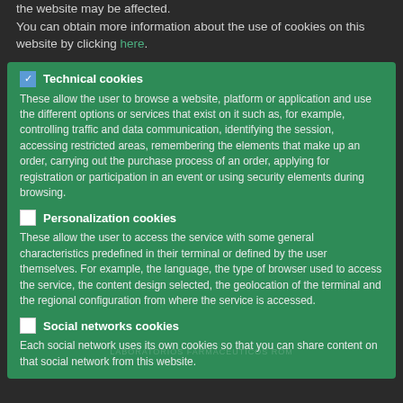the website may be affected. You can obtain more information about the use of cookies on this website by clicking here.
Technical cookies – These allow the user to browse a website, platform or application and use the different options or services that exist on it such as, for example, controlling traffic and data communication, identifying the session, accessing restricted areas, remembering the elements that make up an order, carrying out the purchase process of an order, applying for registration or participation in an event or using security elements during browsing.
Personalization cookies – These allow the user to access the service with some general characteristics predefined in their terminal or defined by the user themselves. For example, the language, the type of browser used to access the service, the content design selected, the geolocation of the terminal and the regional configuration from where the service is accessed.
Social networks cookies – Each social network uses its own cookies so that you can share content on that social network from this website.